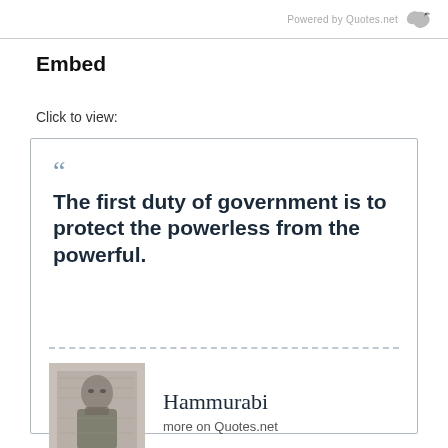Powered by Quotes.net
Embed
Click to view:
[Figure (other): Embed quote card showing a quote by Hammurabi: 'The first duty of government is to protect the powerless from the powerful.' with a portrait image of Hammurabi and text 'more on Quotes.net']